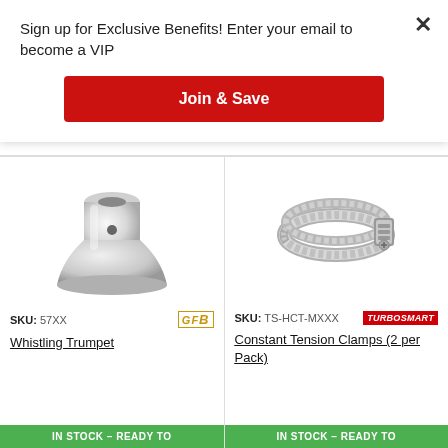Sign up for Exclusive Benefits! Enter your email to become a VIP
Join & Save
[Figure (photo): White metallic Whistling Trumpet component, bell-shaped end]
SKU: 57XX
[Figure (logo): GFB (Go Fast Bits) brand logo in gold/yellow]
Whistling Trumpet
IN STOCK – READY TO
[Figure (photo): Stainless steel constant tension hose clamp ring]
SKU: TS-HCT-MXXX
[Figure (logo): Turbosmart Performance Products brand logo]
Constant Tension Clamps (2 per Pack)
IN STOCK – READY TO